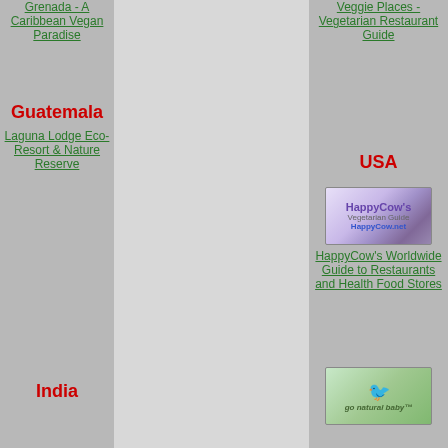Grenada - A Caribbean Vegan Paradise
Guatemala
Laguna Lodge Eco-Resort & Nature Reserve
India
Veggie Places - Vegetarian Restaurant Guide
USA
[Figure (logo): HappyCow's Vegetarian Guide logo banner with purple/lavender background showing a cartoon cow and text HappyCow.net]
HappyCow's Worldwide Guide to Restaurants and Health Food Stores
[Figure (logo): Go Natural Baby banner with green background showing a bird illustration and cursive text]